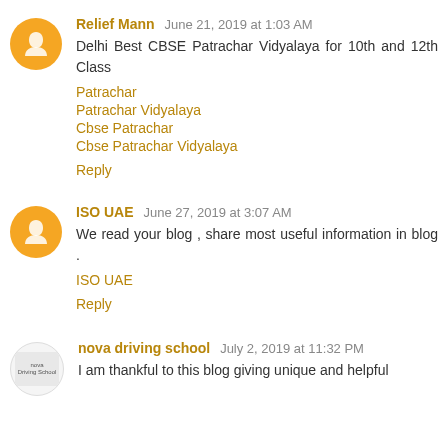Relief Mann June 21, 2019 at 1:03 AM
Delhi Best CBSE Patrachar Vidyalaya for 10th and 12th Class
Patrachar
Patrachar Vidyalaya
Cbse Patrachar
Cbse Patrachar Vidyalaya
Reply
ISO UAE June 27, 2019 at 3:07 AM
We read your blog , share most useful information in blog .
ISO UAE
Reply
nova driving school July 2, 2019 at 11:32 PM
I am thankful to this blog giving unique and helpful